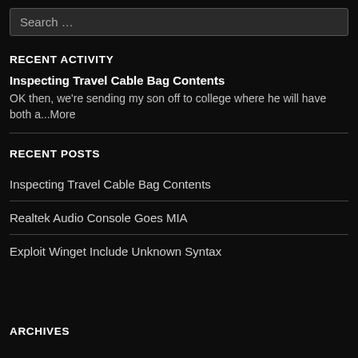Search ...
RECENT ACTIVITY
Inspecting Travel Cable Bag Contents
OK then, we're sending my son off to college where he will have both a...More
RECENT POSTS
Inspecting Travel Cable Bag Contents
Realtek Audio Console Goes MIA
Exploit Winget Include Unknown Syntax
ARCHIVES